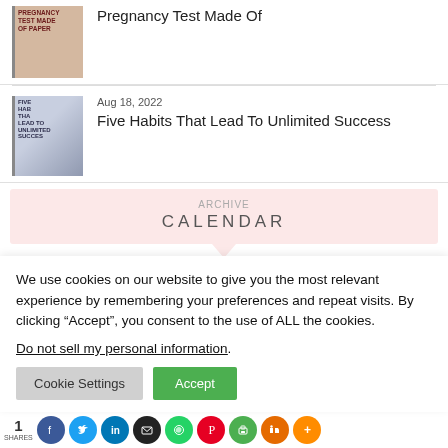[Figure (photo): Thumbnail image for article about pregnancy test made of paper, with dark red text on brownish background]
Pregnancy Test Made Of
[Figure (photo): Thumbnail image for article Five Habits That Lead To Unlimited Success, woman reading]
Aug 18, 2022
Five Habits That Lead To Unlimited Success
CALENDAR
September 2022
We use cookies on our website to give you the most relevant experience by remembering your preferences and repeat visits. By clicking “Accept”, you consent to the use of ALL the cookies.
Do not sell my personal information.
Cookie Settings
Accept
1 SHARES